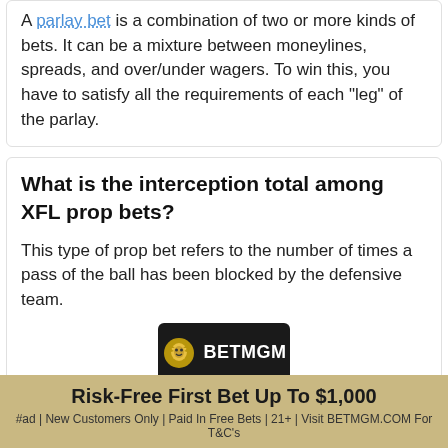A parlay bet is a combination of two or more kinds of bets. It can be a mixture between moneylines, spreads, and over/under wagers. To win this, you have to satisfy all the requirements of each "leg" of the parlay.
What is the interception total among XFL prop bets?
This type of prop bet refers to the number of times a pass of the ball has been blocked by the defensive team.
[Figure (logo): BetMGM logo on dark background with lion icon]
Risk-Free First Bet Up To $1,000
#ad | New Customers Only | Paid In Free Bets | 21+ | Visit BETMGM.COM For T&C's